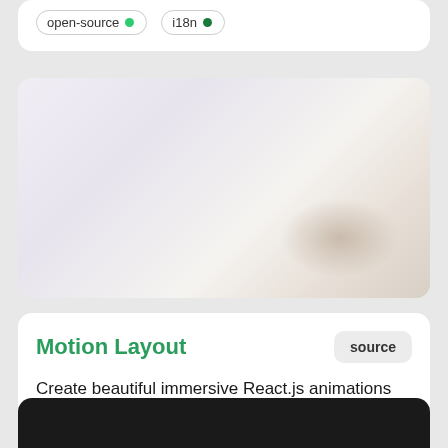open-source
i18n
[Figure (screenshot): Preview image area with soft gradient background in lavender and warm beige tones]
Motion Layout
source
Create beautiful immersive React.js animations using shared components
open-source